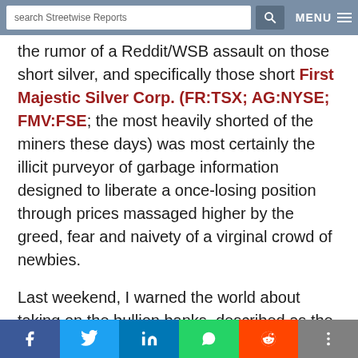search Streetwise Reports | MENU
the rumor of a Reddit/WSB assault on those short silver, and specifically those short First Majestic Silver Corp. (FR:TSX; AG:NYSE; FMV:FSE; the most heavily shorted of the miners these days) was most certainly the illicit purveyor of garbage information designed to liberate a once-losing position through prices massaged higher by the greed, fear and naivety of a virginal crowd of newbies.

Last weekend, I warned the world about taking on the bullion banks, described as the
f | Twitter | in | WhatsApp | Reddit | +